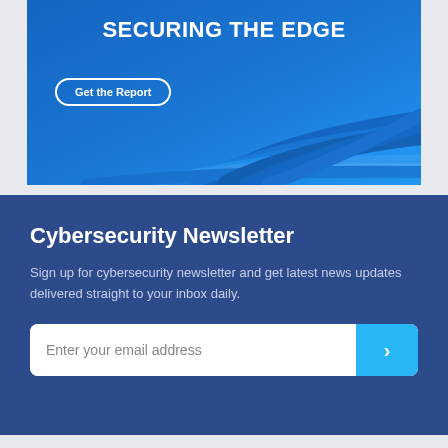[Figure (illustration): Blue gradient banner advertisement for a cybersecurity report titled 'Securing the Edge' with decorative flowing wave lines and a 'Get the Report' button with rounded border]
Cybersecurity Newsletter
Sign up for cybersecurity newsletter and get latest news updates delivered straight to your inbox daily.
Enter your email address